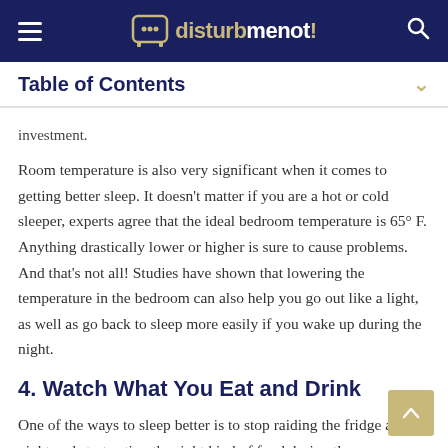disturbmenot!
Table of Contents
investment.
Room temperature is also very significant when it comes to getting better sleep. It doesn't matter if you are a hot or cold sleeper, experts agree that the ideal bedroom temperature is 65° F. Anything drastically lower or higher is sure to cause problems. And that's not all! Studies have shown that lowering the temperature in the bedroom can also help you go out like a light, as well as go back to sleep more easily if you wake up during the night.
4. Watch What You Eat and Drink
One of the ways to sleep better is to stop raiding the fridge at night and start eating the right kind of food during the